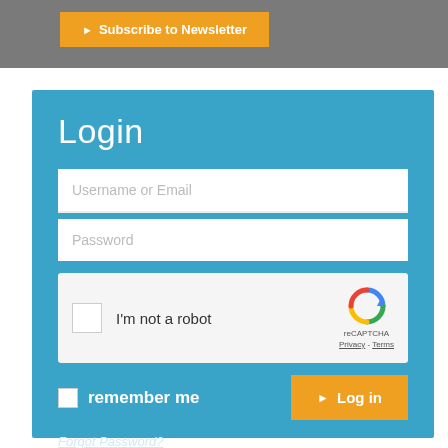[Figure (screenshot): Subscribe to Newsletter button — orange button with arrow and white text on grey header bar]
Login
[Figure (screenshot): Username or Email input field — white text input box with placeholder text]
[Figure (screenshot): Password input field — white text input box with placeholder text]
[Figure (screenshot): reCAPTCHA widget — checkbox with 'I'm not a robot' label and reCAPTCHA logo with Privacy and Terms links]
[Figure (screenshot): Remember me checkbox and Log in button row — white checkbox, bold white 'remember me' text, orange Log in button]
Forgot Password?
Forgot Username?